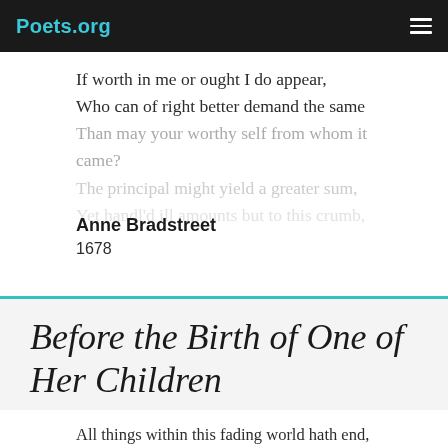Poets.org
If worth in me or ought I do appear,
Who can of right better demand the same
Than may your worthy self from whom it came?
The principal might yield a greater sum,
Yet handl'd ill amounts but to this crumb,
Anne Bradstreet
1678
Before the Birth of One of Her Children
All things within this fading world hath end,
Adversity doth still our joys attend,